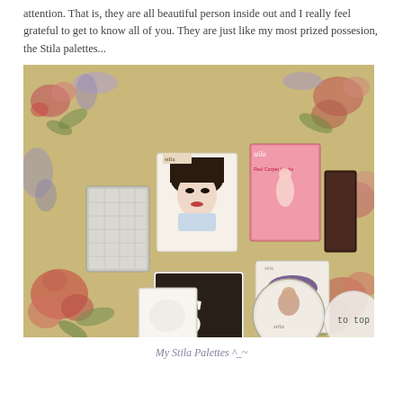attention. That is, they are all beautiful person inside out and I really feel grateful to get to know all of you. They are just like my most prized possesion, the Stila palettes...
[Figure (photo): Photo of several Stila makeup palettes and cosmetics laid out on a floral patterned yellow/beige fabric background. Items include various Stila palette compacts with decorative covers, a pink box labeled 'Red Carpet Looks', a dark rectangular palette, a round compact, and small white square palettes.]
My Stila Palettes ^_~